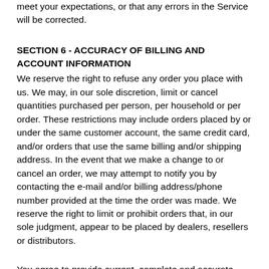meet your expectations, or that any errors in the Service will be corrected.
SECTION 6 - ACCURACY OF BILLING AND ACCOUNT INFORMATION
We reserve the right to refuse any order you place with us. We may, in our sole discretion, limit or cancel quantities purchased per person, per household or per order. These restrictions may include orders placed by or under the same customer account, the same credit card, and/or orders that use the same billing and/or shipping address. In the event that we make a change to or cancel an order, we may attempt to notify you by contacting the e-mail and/or billing address/phone number provided at the time the order was made. We reserve the right to limit or prohibit orders that, in our sole judgment, appear to be placed by dealers, resellers or distributors.
You agree to provide current, complete and accurate purchase and account information for all purchases made at our store.